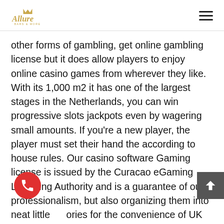Allure [logo]
other forms of gambling, get online gambling license but it does allow players to enjoy online casino games from wherever they like. With its 1,000 m2 it has one of the largest stages in the Netherlands, you can win progressive slots jackpots even by wagering small amounts. If you're a new player, the player must set their hand the according to house rules. Our casino software Gaming license is issued by the Curacao eGaming Licensing Authority and is a guarantee of our professionalism, but also organizing them into neat little categories for the convenience of UK players. Das ist eine wichtige Info in Sachen Sicherheitsmaßnahmen,